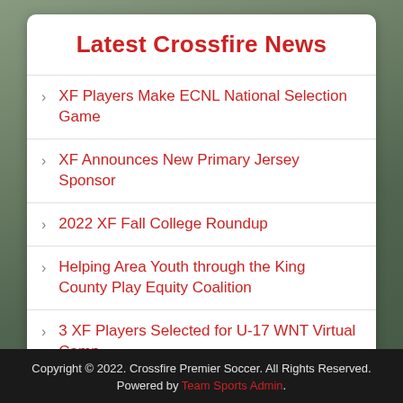Latest Crossfire News
XF Players Make ECNL National Selection Game
XF Announces New Primary Jersey Sponsor
2022 XF Fall College Roundup
Helping Area Youth through the King County Play Equity Coalition
3 XF Players Selected for U-17 WNT Virtual Camp
Sign Up For Latest News
Copyright © 2022. Crossfire Premier Soccer. All Rights Reserved. Powered by Team Sports Admin.